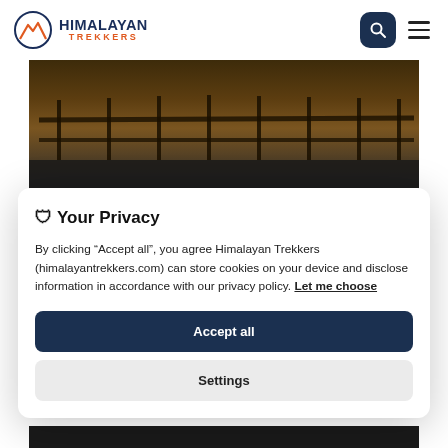Himalayan Trekkers
[Figure (screenshot): Himalayan Trekkers website screenshot showing background photo of fence/trail at dusk and a partially visible page title text in white]
🛡 Your Privacy
By clicking “Accept all”, you agree Himalayan Trekkers (himalayantrekkers.com) can store cookies on your device and disclose information in accordance with our privacy policy. Let me choose
Accept all
Settings